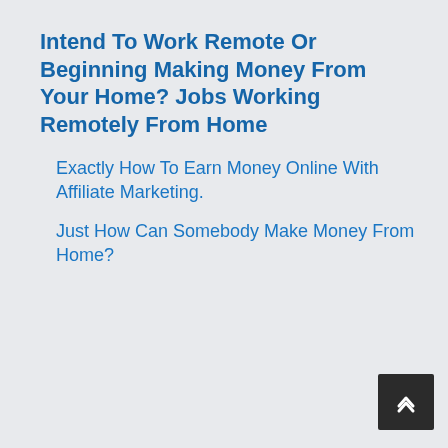Intend To Work Remote Or Beginning Making Money From Your Home? Jobs Working Remotely From Home
Exactly How To Earn Money Online With Affiliate Marketing.
Just How Can Somebody Make Money From Home?